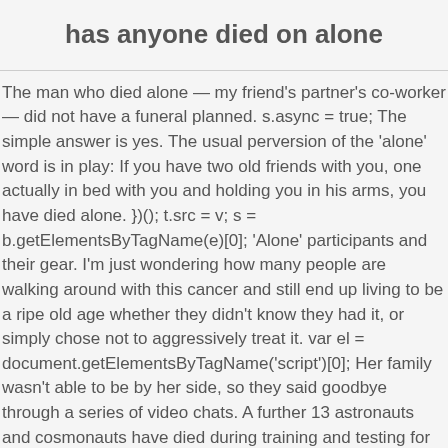has anyone died on alone
The man who died alone — my friend's partner's co-worker — did not have a funeral planned. s.async = true; The simple answer is yes. The usual perversion of the 'alone' word is in play: If you have two old friends with you, one actually in bed with you and holding you in his arms, you have died alone. })(); t.src = v; s = b.getElementsByTagName(e)[0]; 'Alone' participants and their gear. I'm just wondering how many people are walking around with this cancer and still end up living to be a ripe old age whether they didn't know they had it, or simply chose not to aggressively treat it. var el = document.getElementsByTagName('script')[0]; Her family wasn't able to be by her side, so they said goodbye through a series of video chats. A further 13 astronauts and cosmonauts have died during training and testing for spaceflight. Has Anyone Died On Naked And Afraid? All have been resolved by returning their training...